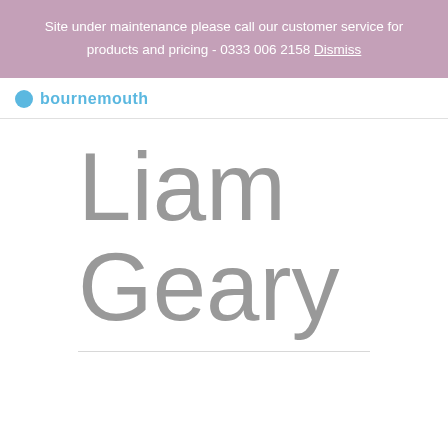Site under maintenance please call our customer service for products and pricing - 0333 006 2158 Dismiss
[Figure (logo): Bournemouth logo with blue circle icon and blue text reading 'bournemouth']
Liam Geary